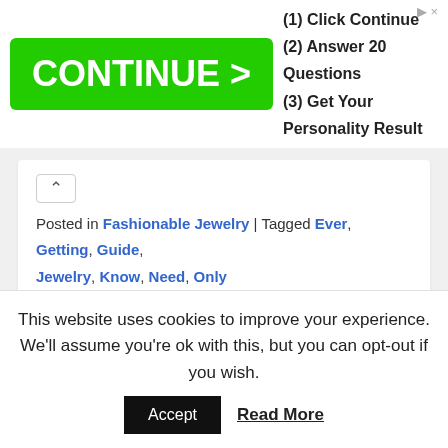[Figure (screenshot): Advertisement banner with green CONTINUE > button and text: (1) Click Continue, (2) Answer 20 Questions, (3) Get Your Personality Result]
Posted in Fashionable Jewelry | Tagged Ever, Getting, Guide, Jewelry, Know, Need, Only
← Older posts
MENU
Home
Fashionable Jewelry
Earrings
This website uses cookies to improve your experience. We'll assume you're ok with this, but you can opt-out if you wish.
Accept   Read More